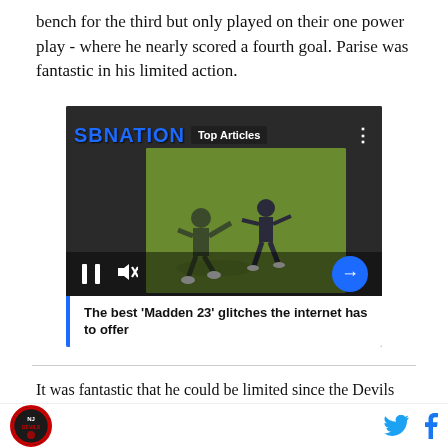bench for the third but only played on their one power play - where he nearly scored a fourth goal. Parise was fantastic in his limited action.
[Figure (screenshot): Embedded video player with SBNation logo and 'Top Articles' badge. Video thumbnail shows football players on green field. Controls include pause, mute, and next arrow buttons. Caption reads: The best ‘Madden 23’ glitches the internet has to offer]
It was fantastic that he could be limited since the Devils
NJ Devils logo icon | Twitter icon | Facebook icon